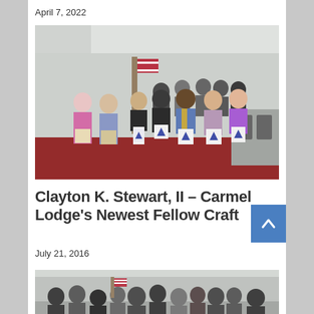April 7, 2022
[Figure (photo): Group photo of approximately 15-16 men posing together indoors in what appears to be a Masonic lodge. Several men are wearing Masonic aprons. An American flag is visible in the background.]
Clayton K. Stewart, II – Carmel Lodge's Newest Fellow Craft
July 21, 2016
[Figure (photo): Group photo of a large gathering of men and women inside a Masonic lodge room. An American flag is visible.]